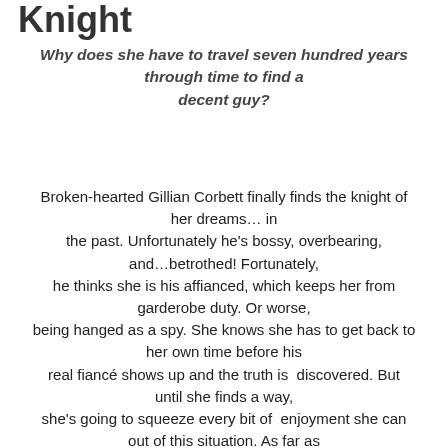Knight
Why does she have to travel seven hundred years through time to find a decent guy?
Broken-hearted Gillian Corbett finally finds the knight of her dreams… in the past. Unfortunately he's bossy, overbearing, and…betrothed! Fortunately, he thinks she is his affianced, which keeps her from garderobe duty. Or worse, being hanged as a spy. She knows she has to get back to her own time before his real fiancé shows up and the truth is discovered. But until she finds a way, she's going to squeeze every bit of enjoyment she can out of this situation. As far as she's concerned, this is one relationship in which she gets to call the shots, not the other way around. The dowry provided by his